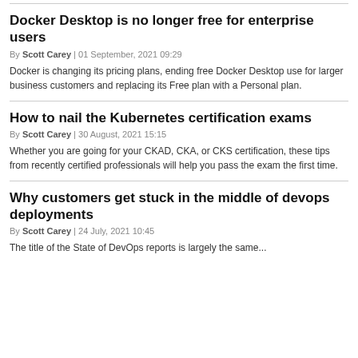Docker Desktop is no longer free for enterprise users
By Scott Carey | 01 September, 2021 09:29
Docker is changing its pricing plans, ending free Docker Desktop use for larger business customers and replacing its Free plan with a Personal plan.
How to nail the Kubernetes certification exams
By Scott Carey | 30 August, 2021 15:15
Whether you are going for your CKAD, CKA, or CKS certification, these tips from recently certified professionals will help you pass the exam the first time.
Why customers get stuck in the middle of devops deployments
By Scott Carey | 24 July, 2021 10:45
The title of the State of DevOps reports is largely the same...